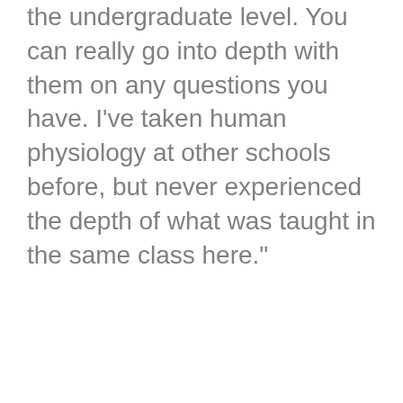the undergraduate level. You can really go into depth with them on any questions you have. I’ve taken human physiology at other schools before, but never experienced the depth of what was taught in the same class here.”